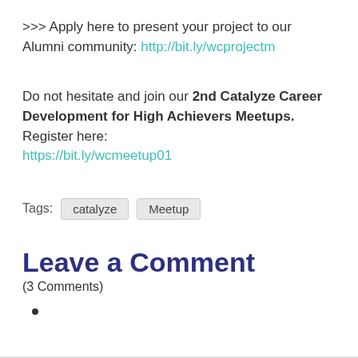>>> Apply here to present your project to our Alumni community: http://bit.ly/wcprojectm
Do not hesitate and join our 2nd Catalyze Career Development for High Achievers Meetups. Register here: https://bit.ly/wcmeetup01
Tags: catalyze  Meetup
Leave a Comment
(3 Comments)
•